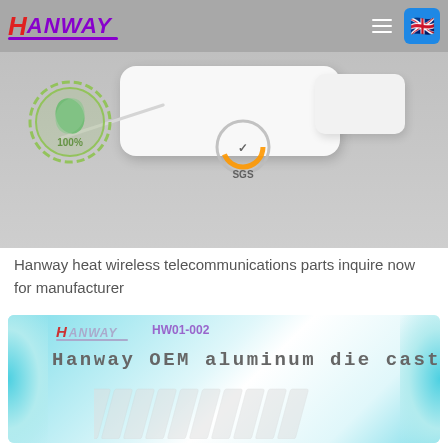[Figure (screenshot): Hanway company website navbar with logo, hamburger menu, and UK flag language selector on grey background]
[Figure (photo): Hero image area showing white electronic/wireless device with 100% green certification badge and SGS certification badge on grey background]
Hanway heat wireless telecommunications parts inquire now for manufacturer
[Figure (screenshot): Product card with teal gradient background showing Hanway logo, product code HW01-002, text 'Hanway OEM aluminum die cast' and heatsink product image]